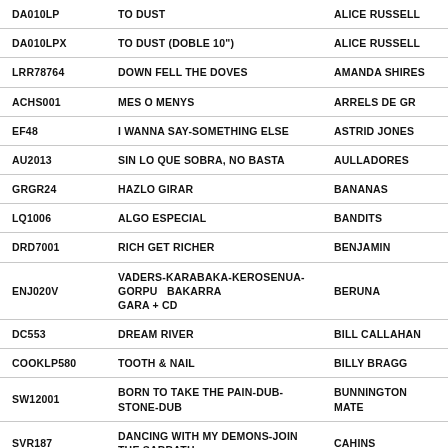| CODE | TITLE | ARTIST |
| --- | --- | --- |
| DA010LP | TO DUST | ALICE RUSSELL |
| DA010LPX | TO DUST (DOBLE 10") | ALICE RUSSELL |
| LRR78764 | DOWN FELL THE DOVES | AMANDA SHIRES |
| ACHS001 | MES O MENYS | ARRELS DE GR... |
| EF48 | I WANNA SAY-SOMETHING ELSE | ASTRID JONES |
| AU2013 | SIN LO QUE SOBRA, NO BASTA | AULLADORES |
| GRGR24 | HAZLO GIRAR | BANANAS |
| LQ1006 | ALGO ESPECIAL | BANDITS |
| DRD7001 | RICH GET RICHER | BENJAMIN |
| ENJ020V | VADERS-KARABAKA-KEROSENUA-GORPU BAKARRA GARA + CD | BERUNA |
| DC553 | DREAM RIVER | BILL CALLAHAN |
| COOKLP580 | TOOTH & NAIL | BILLY BRAGG |
| SW12001 | BORN TO TAKE THE PAIN-DUB-STONE-DUB | BUNNINGTON MATE |
| SVR187 | DANCING WITH MY DEMONS-JOIN THE SABBATH | CAHINS |